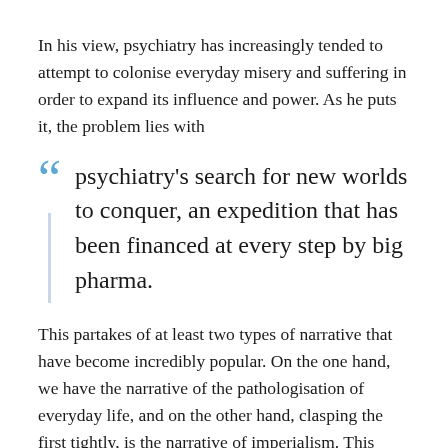In his view, psychiatry has increasingly tended to attempt to colonise everyday misery and suffering in order to expand its influence and power. As he puts it, the problem lies with
psychiatry's search for new worlds to conquer, an expedition that has been financed at every step by big pharma.
This partakes of at least two types of narrative that have become incredibly popular. On the one hand, we have the narrative of the pathologisation of everyday life, and on the other hand, clasping the first tightly, is the narrative of imperialism. This story is one that